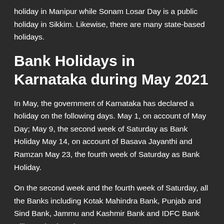holiday in Manipur while Sonam Losar Day is a public holiday in Sikkim. Likewise, there are many state-based holidays.
Bank Holidays in Karnataka during May 2021
In May, the government of Karnataka has declared a holiday on the following days. May 1, on account of May Day; May 9, the second week of Saturday as Bank Holiday May 14, on account of Basava Jayanthi and Ramzan May 23, the fourth week of Saturday as Bank Holiday.
On the second week and the fourth week of Saturday, all the Banks including Kotak Mahindra Bank, Punjab and Sind Bank, Jammu and Kashmir Bank and IDFC Bank will remain closed.